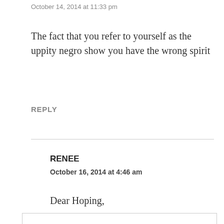October 14, 2014 at 11:33 pm
The fact that you refer to yourself as the uppity negro show you have the wrong spirit
REPLY
RENEE
October 16, 2014 at 4:46 am
Dear Hoping,
Privacy & Cookies: This site uses cookies. By continuing to use this website, you agree to their use.
To find out more, including how to control cookies, see here: Cookie Policy
Close and accept
criticism, see what this brother is actually saying.